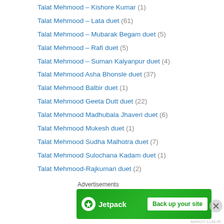Talat Mehmood – Kishore Kumar (1)
Talat Mehmood – Lata duet (61)
Talat Mehmood – Mubarak Begam duet (5)
Talat Mehmood – Rafi duet (5)
Talat Mehmood – Suman Kalyanpur duet (4)
Talat Mehmood Asha Bhonsle duet (37)
Talat Mehmood Balbir duet (1)
Talat Mehmood Geeta Dutt duet (22)
Talat Mehmood Madhubala Jhaveri duet (6)
Talat Mehmood Mukesh duet (1)
Talat Mehmood Sudha Malhotra duet (7)
Talat Mehmood Sulochana Kadam duet (1)
Talat Mehmood-Rajkumari duet (2)
Talat Mehmood-Suraiyya duet (5)
Udit Narayan – Alka Yagnik Duet (2)
Udit Narayan-Anuradha Paudwal duet (1)
Udit Narayan-Kavita Krishnamoorthy duet (3)
Advertisements
[Figure (infographic): Jetpack advertisement banner with green background, Jetpack logo on left, and 'Back up your site' button on right]